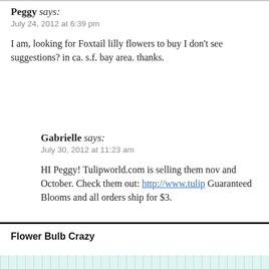Peggy says: July 24, 2012 at 6:39 pm
I am, looking for Foxtail lilly flowers to buy I don't see suggestions? in ca. s.f. bay area. thanks.
Gabrielle says: July 30, 2012 at 11:23 am
HI Peggy! Tulipworld.com is selling them now and October. Check them out: http://www.tulip Guaranteed Blooms and all orders ship for $3.
Flower Bulb Crazy